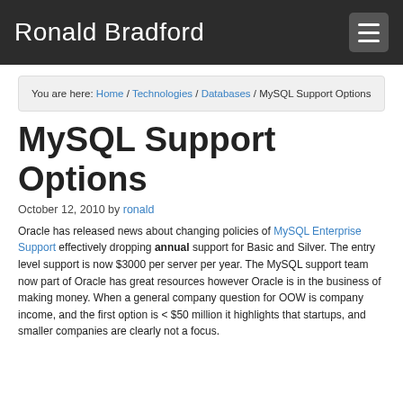Ronald Bradford
You are here: Home / Technologies / Databases / MySQL Support Options
MySQL Support Options
October 12, 2010 by ronald
Oracle has released news about changing policies of MySQL Enterprise Support effectively dropping annual support for Basic and Silver. The entry level support is now $3000 per server per year. The MySQL support team now part of Oracle has great resources however Oracle is in the business of making money. When a general company question for OOW is company income, and the first option is < $50 million it highlights that startups, and smaller companies are clearly not a focus.